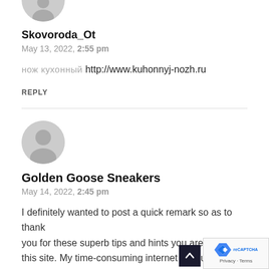[Figure (illustration): Partial gray avatar circle icon at top of page]
Skovoroda_Ot
May 13, 2022, 2:55 pm
нож кухонный http://www.kuhonnyj-nozh.ru
REPLY
[Figure (illustration): Gray avatar circle icon with person silhouette]
Golden Goose Sneakers
May 14, 2022, 2:45 pm
I definitely wanted to post a quick remark so as to thank you for these superb tips and hints you are sharing this site. My time-consuming internet look up has a end been recognized with reputable details to write